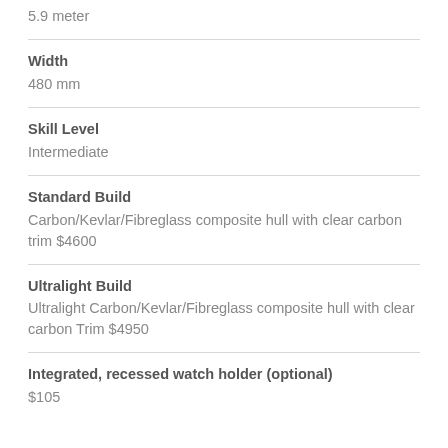5.9 meter
Width
480 mm
Skill Level
Intermediate
Standard Build
Carbon/Kevlar/Fibreglass composite hull with clear carbon trim $4600
Ultralight Build
Ultralight Carbon/Kevlar/Fibreglass composite hull with clear carbon Trim $4950
Integrated, recessed watch holder (optional)
$105